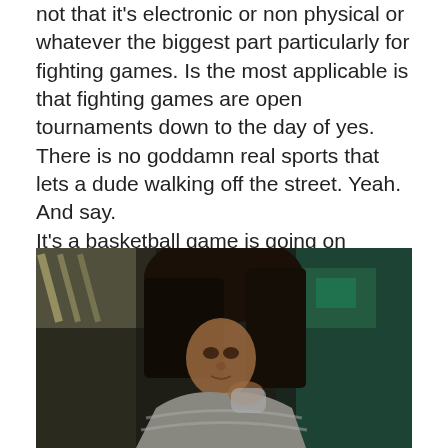not that it's electronic or non physical or whatever the biggest part particularly for fighting games. Is the most applicable is that fighting games are open tournaments down to the day of yes.
There is no goddamn real sports that lets a dude walking off the street. Yeah. And say.
It's a basketball game is going on someone from the crowd just can't get on to the court of course. We didn't make it in a more exciting game. Yes absolutely.
But that's it rise are the rules exactly and all those are sponsored players that are on the court.
[Figure (photo): A dark-haired woman wearing a grey striped hoodie, holding something near her face, photographed indoors with blurred background showing green and teal tones.]